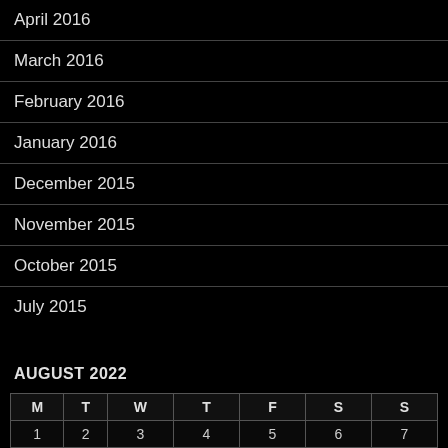April 2016
March 2016
February 2016
January 2016
December 2015
November 2015
October 2015
July 2015
AUGUST 2022
| M | T | W | T | F | S | S |
| --- | --- | --- | --- | --- | --- | --- |
| 1 | 2 | 3 | 4 | 5 | 6 | 7 |
| 8 | 9 | 10 | 11 | 12 | 13 | 14 |